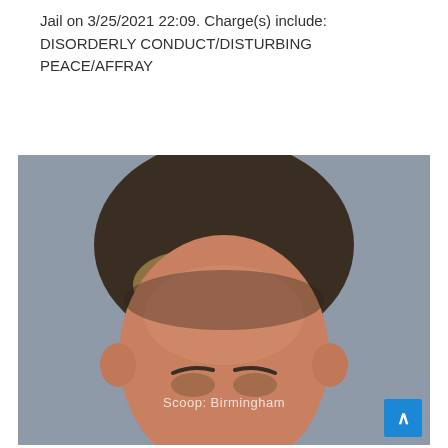Jail on 3/25/2021 22:09. Charge(s) include: DISORDERLY CONDUCT/DISTURBING PEACE/AFFRAY
[Figure (photo): Mugshot photo of an individual with dark brown and blonde highlighted wavy hair, taken at the Jefferson County Jail. A 'Scoop: Birmingham' watermark is overlaid on the image. A blue scroll-to-top button appears in the bottom-right corner.]